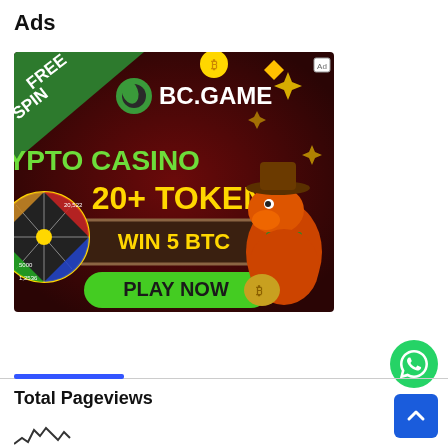Ads
[Figure (illustration): BC.GAME crypto casino advertisement banner. Dark red background with a cartoon orange dinosaur character wearing a cowboy hat and green scarf holding a bitcoin bag. Left side shows a spinning prize wheel with cryptocurrency symbols. Text reads: FREE SPIN, BC.GAME logo, CRYPTO CASINO, 20+ TOKEN, WIN 5 BTC, PLAY NOW button in green. Small ad disclosure icon in top right corner.]
[Figure (illustration): Green circular WhatsApp button with white WhatsApp icon in the lower right area of the page.]
Total Pageviews
[Figure (continuous-plot): Partial view of a line chart showing pageviews data, only the lower-left portion is visible showing peaks and valleys of the chart line.]
[Figure (illustration): Blue scroll-to-top button with white upward chevron arrow in the bottom right corner.]